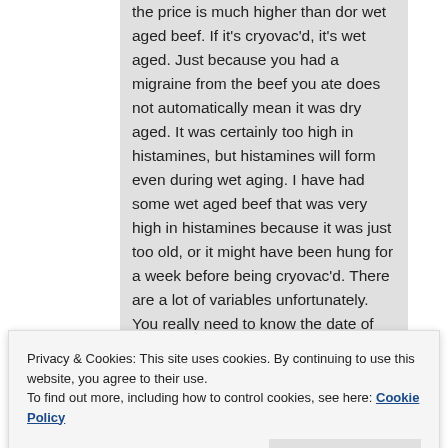the price is much higher than dor wet aged beef. If it's cryovac'd, it's wet aged. Just because you had a migraine from the beef you ate does not automatically mean it was dry aged. It was certainly too high in histamines, but histamines will form even during wet aging. I have had some wet aged beef that was very high in histamines because it was just too old, or it might have been hung for a week before being cryovac'd. There are a lot of variables unfortunately. You really need to know the date of slaughter and the date of packing into cryovac'd bag. Also, your own natural
Privacy & Cookies: This site uses cookies. By continuing to use this website, you agree to their use.
To find out more, including how to control cookies, see here: Cookie Policy
Close and accept
emotions or see on a certain day and the